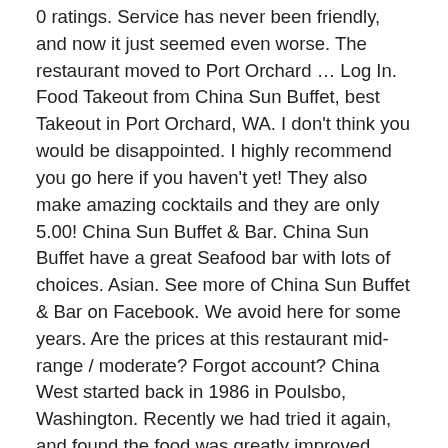0 ratings. Service has never been friendly, and now it just seemed even worse. The restaurant moved to Port Orchard … Log In. Food Takeout from China Sun Buffet, best Takeout in Port Orchard, WA. I don't think you would be disappointed. I highly recommend you go here if you haven't yet! They also make amazing cocktails and they are only 5.00! China Sun Buffet & Bar. China Sun Buffet have a great Seafood bar with lots of choices. Asian. See more of China Sun Buffet & Bar on Facebook. We avoid here for some years. Are the prices at this restaurant mid-range / moderate? Forgot account? China West started back in 1986 in Poulsbo, Washington. Recently we had tried it again, and found the food was greatly improved. https://www.facebook.com/China-Sun-Buffet-Bar-202888926460156/. 99 people follow this. and beef pieces were not always well-trimmed of fat but lots of choices. 3.8 out of 5 stars. Prices were very reasonable.More, We stopped here because of the very full parking lot, always a good sign. It was very nice service the waiter I had was on top of everything and extremely polite!